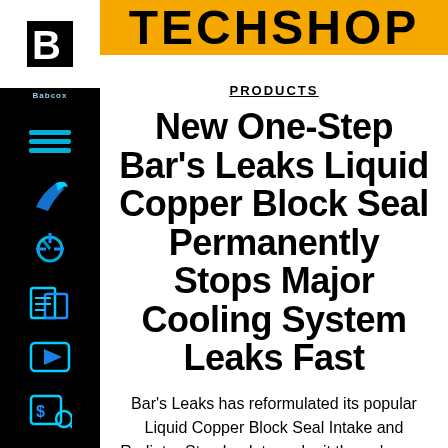TECHSHOP
PRODUCTS
New One-Step Bar's Leaks Liquid Copper Block Seal Permanently Stops Major Cooling System Leaks Fast
Bar's Leaks has reformulated its popular Liquid Copper Block Seal Intake and Radiator Stop Leak to make it the only one-step copper block seal on the market. Simply pour it into the